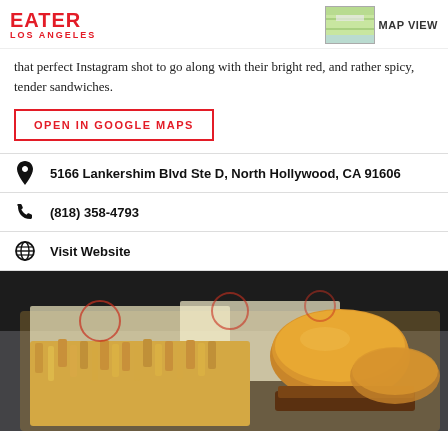EATER LOS ANGELES
that perfect Instagram shot to go along with their bright red, and rather spicy, tender sandwiches.
OPEN IN GOOGLE MAPS
5166 Lankershim Blvd Ste D, North Hollywood, CA 91606
(818) 358-4793
Visit Website
[Figure (photo): Close-up photo of crinkle-cut fries and sliders/sandwiches in a branded food basket with logo-printed paper liner]